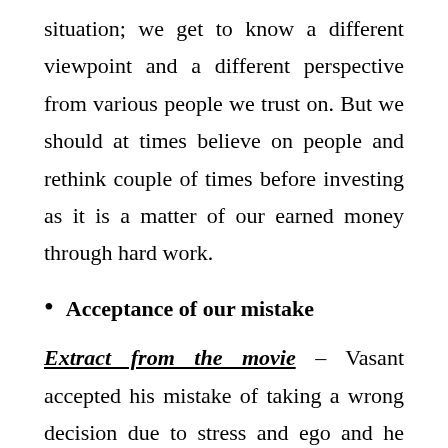situation; we get to know a different viewpoint and a different perspective from various people we trust on. But we should at times believe on people and rethink couple of times before investing as it is a matter of our earned money through hard work.
Acceptance of our mistake
Extract from the movie – Vasant accepted his mistake of taking a wrong decision due to stress and ego and he decides to change his decision. If he wouldn't have accepted the viewpoint and changed his decision in time; then that would have led him to